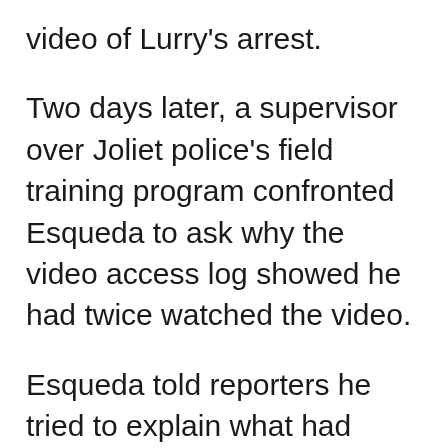video of Lurry's arrest.
Two days later, a supervisor over Joliet police's field training program confronted Esqueda to ask why the video access log showed he had twice watched the video.
Esqueda told reporters he tried to explain what had disturbed him about Lurry's arrest, but the captain told him to shut up. He gave Esqueda clear instructions: write a short memo explaining only why he had accessed the video — without detailing its